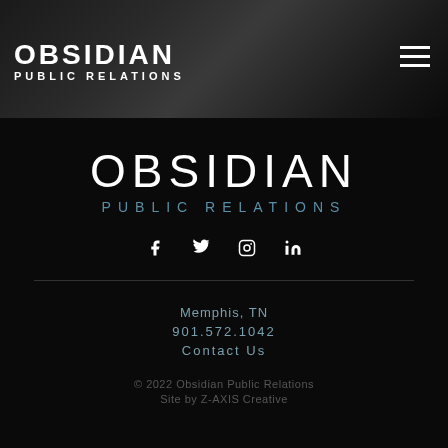OBSIDIAN PUBLIC RELATIONS
OBSIDIAN PUBLIC RELATIONS
[Figure (infographic): Social media icons: Facebook (f), Twitter (bird), Instagram (camera), LinkedIn (in)]
Memphis, TN
901.572.1042
Contact Us
© 2022 Obsidian Public Relations
Site by Z-AXIS Creative